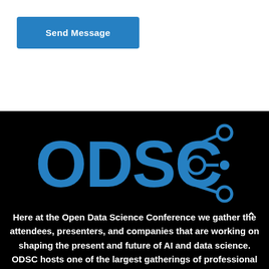Send Message
[Figure (logo): ODSC logo with network/share icon in blue on black background]
Here at the Open Data Science Conference we gather the attendees, presenters, and companies that are working on shaping the present and future of AI and data science. ODSC hosts one of the largest gatherings of professional